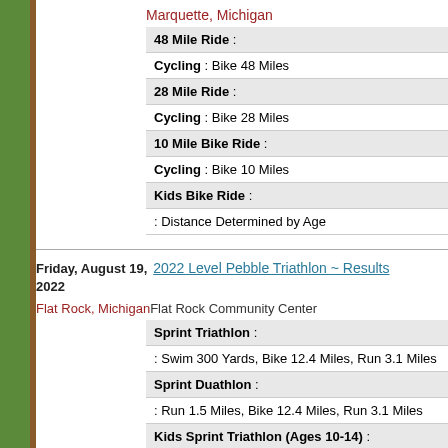Marquette, Michigan
| 48 Mile Ride : |
| Cycling : Bike 48 Miles |
| 28 Mile Ride : |
| Cycling : Bike 28 Miles |
| 10 Mile Bike Ride : |
| Cycling : Bike 10 Miles |
| Kids Bike Ride : |
| : Distance Determined by Age |
Friday, August 19, 2022
2022 Level Pebble Triathlon ~ Results
Flat Rock, Michigan  Flat Rock Community Center
| Sprint Triathlon : |
| : Swim 300 Yards, Bike 12.4 Miles, Run 3.1 Miles |
| Sprint Duathlon : |
| : Run 1.5 Miles, Bike 12.4 Miles, Run 3.1 Miles |
| Kids Sprint Triathlon (Ages 10-14) : |
| : Swim 200 Yards, Bike 4 Miles, Run 1.6 Miles |
| Kids Super Sprint Triathlon (Ages 5-9) : |